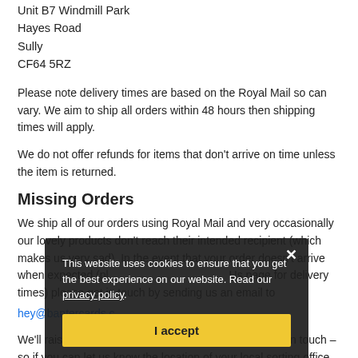Unit B7 Windmill Park
Hayes Road
Sully
CF64 5RZ
Please note delivery times are based on the Royal Mail so can vary. We aim to ship all orders within 48 hours then shipping times will apply.
We do not offer refunds for items that don't arrive on time unless the item is returned.
Missing Orders
We ship all of our orders using Royal Mail and very occasionally our lovely products don't reach their intended recipient (which makes us very sad). In the event that your order doesn't arrive when expected (please check our Contact Us page for delivery times) please get in touch by sending us an email to hey@bantercards.co.uk
We'll raise a query with Royal Mail as soon as you get in touch – so if you can let us know the location of your local sorting office that
[Figure (screenshot): Cookie consent banner overlay with dark semi-transparent background, text 'This website uses cookies to ensure that you get the best experience on our website. Read our privacy policy.', an X close button, and a yellow 'I accept' button.]